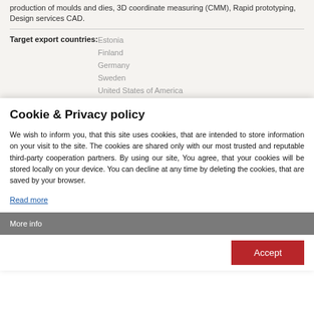production of moulds and dies, 3D coordinate measuring (CMM), Rapid prototyping, Design services CAD.
| Target export countries: | Estonia
Finland
Germany
Sweden
United States of America |
Cookie & Privacy policy
We wish to inform you, that this site uses cookies, that are intended to store information on your visit to the site. The cookies are shared only with our most trusted and reputable third-party cooperation partners. By using our site, You agree, that your cookies will be stored locally on your device. You can decline at any time by deleting the cookies, that are saved by your browser.
Read more
More info
Accept